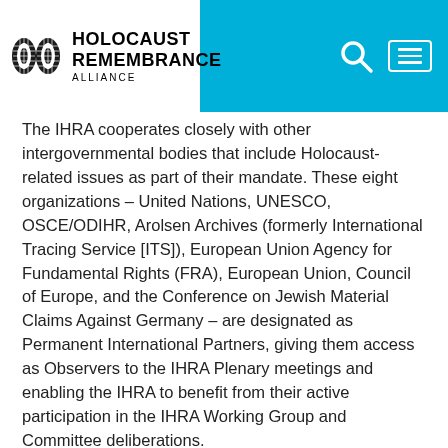Holocaust Remembrance Alliance
The IHRA cooperates closely with other intergovernmental bodies that include Holocaust-related issues as part of their mandate. These eight organizations – United Nations, UNESCO, OSCE/ODIHR, Arolsen Archives (formerly International Tracing Service [ITS]), European Union Agency for Fundamental Rights (FRA), European Union, Council of Europe, and the Conference on Jewish Material Claims Against Germany – are designated as Permanent International Partners, giving them access as Observers to the IHRA Plenary meetings and enabling the IHRA to benefit from their active participation in the IHRA Working Group and Committee deliberations.
Our partner organizations turn to the IHRA to keep abreast of developments in the field, and to gain access to the IHRA's unique pool of experts. In turn, the IHRA experts and national delegations have the opportunity to